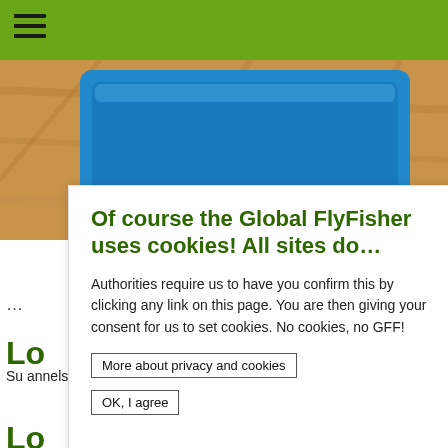[Figure (photo): Photo of a blue tray on a wooden surface containing several coins and small fishing hooks/flies]
Of course the Global FlyFisher uses cookies! All sites do...
Authorities require us to have you confirm this by clicking any link on this page. You are then giving your consent for us to set cookies. No cookies, no GFF!
More about privacy and cookies
OK, I agree
...
Lo
Su                                                                          annels, in
Lo